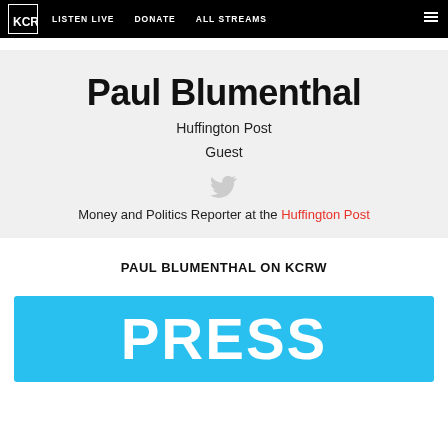KCRW nav bar with logo, LISTEN LIVE, DONATE, ALL STREAMS links
Paul Blumenthal
Huffington Post
Guest
[Figure (illustration): Twitter bird icon in light gray]
Money and Politics Reporter at the Huffington Post
PAUL BLUMENTHAL ON KCRW
[Figure (other): Blue press badge/card with white text reading PRESS]